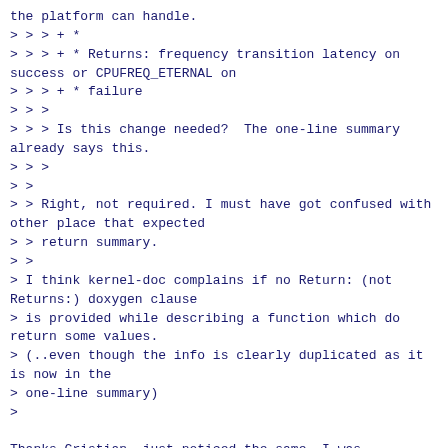the platform can handle.
> > > + *
> > > + * Returns: frequency transition latency on success or CPUFREQ_ETERNAL on
> > > + * failure
> > >
> > > Is this change needed?  The one-line summary already says this.
> > >
> >
> > Right, not required. I must have got confused with other place that expected
> > return summary.
> >
> I think kernel-doc complains if no Return: (not Returns:) doxygen clause
> is provided while describing a function which do return some values.
> (..even though the info is clearly duplicated as it is now in the
> one-line summary)
>

Thanks Cristian, just noticed the same. I was convinced that I did see the
warning before but couldn't recollect the details quickly.

$ ./scripts/kernel-doc -none drivers/acpi/cppc_acpi.c
(no warnings)